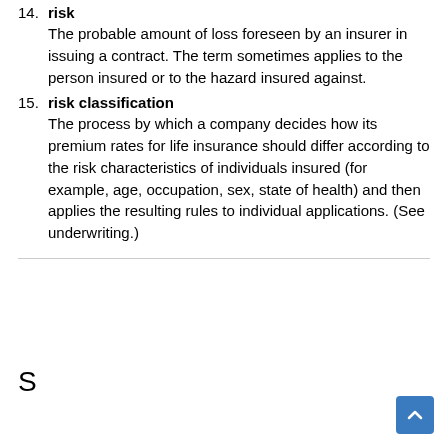14. risk — The probable amount of loss foreseen by an insurer in issuing a contract. The term sometimes applies to the person insured or to the hazard insured against.
15. risk classification — The process by which a company decides how its premium rates for life insurance should differ according to the risk characteristics of individuals insured (for example, age, occupation, sex, state of health) and then applies the resulting rules to individual applications. (See underwriting.)
S